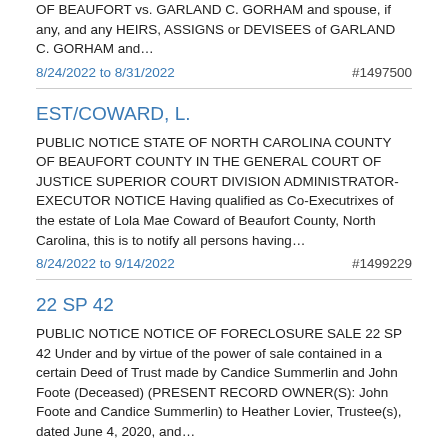OF BEAUFORT vs. GARLAND C. GORHAM and spouse, if any, and any HEIRS, ASSIGNS or DEVISEES of GARLAND C. GORHAM and…
8/24/2022 to 8/31/2022    #1497500
EST/COWARD, L.
PUBLIC NOTICE STATE OF NORTH CAROLINA COUNTY OF BEAUFORT COUNTY IN THE GENERAL COURT OF JUSTICE SUPERIOR COURT DIVISION ADMINISTRATOR-EXECUTOR NOTICE Having qualified as Co-Executrixes of the estate of Lola Mae Coward of Beaufort County, North Carolina, this is to notify all persons having…
8/24/2022 to 9/14/2022    #1499229
22 SP 42
PUBLIC NOTICE NOTICE OF FORECLOSURE SALE 22 SP 42 Under and by virtue of the power of sale contained in a certain Deed of Trust made by Candice Summerlin and John Foote (Deceased) (PRESENT RECORD OWNER(S): John Foote and Candice Summerlin) to Heather Lovier, Trustee(s), dated June 4, 2020, and…
8/24/2022 to 8/31/2022    #1499786